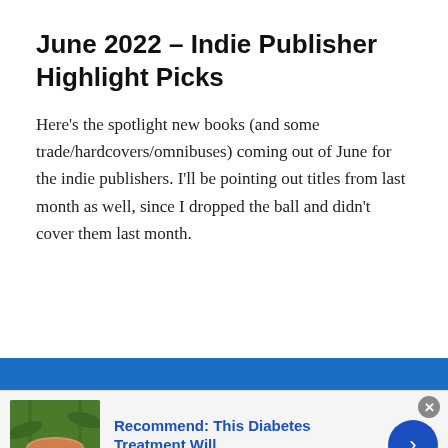June 2022 – Indie Publisher Highlight Picks
Here's the spotlight new books (and some trade/hardcovers/omnibuses) coming out of June for the indie publishers. I'll be pointing out titles from last month as well, since I dropped the ball and didn't cover them last month.
[Figure (illustration): Blue banner advertisement background strip]
[Figure (photo): Ad image showing a bowl with a reddish-brown substance surrounded by green plant leaves]
Recommend: This Diabetes Treatment Will
n/a